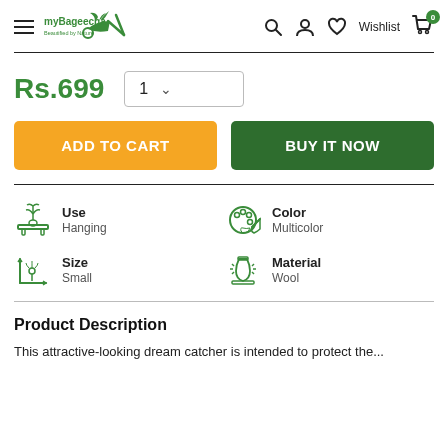myBageecha — Beautified by Nature — Search, Account, Wishlist, Cart (0)
Rs.699  Quantity: 1
ADD TO CART   BUY IT NOW
Use: Hanging   Color: Multicolor   Size: Small   Material: Wool
Product Description
This attractive-looking dream catcher is intended to protect the...